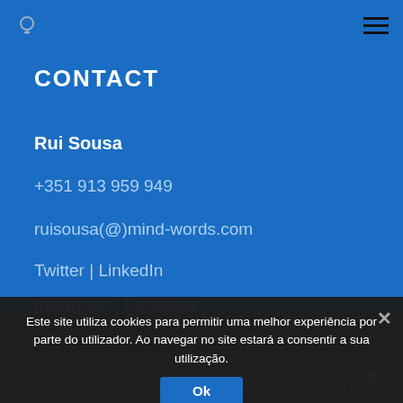CONTACT page header with logo and menu icon
CONTACT
Rui Sousa
+351 913 959 949
ruisousa(@)mind-words.com
Twitter | LinkedIn
Instagram | Facebook
Este site utiliza cookies para permitir uma melhor experiência por parte do utilizador. Ao navegar no site estará a consentir a sua utilização.
© Mind Words - Todos os direitos reservados - Designed byAlar D